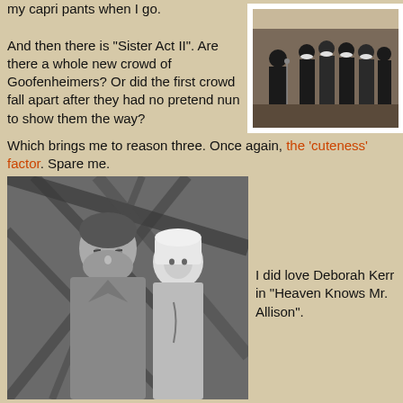my capri pants when I go.
[Figure (photo): A group of nuns in black habits standing and singing, with one nun conducting, inside a church or chapel setting (a scene from Sister Act).]
And then there is "Sister Act II". Are there a whole new crowd of Goofenheimers? Or did the first crowd fall apart after they had no pretend nun to show them the way?
Which brings me to reason three. Once again, the 'cuteness' factor. Spare me.
[Figure (photo): Black and white photo of a man in military/civilian attire and a woman dressed as a nun with white habit, in a jungle or tropical setting (a scene from Heaven Knows Mr. Allison).]
I did love Deborah Kerr in "Heaven Knows Mr. Allison".